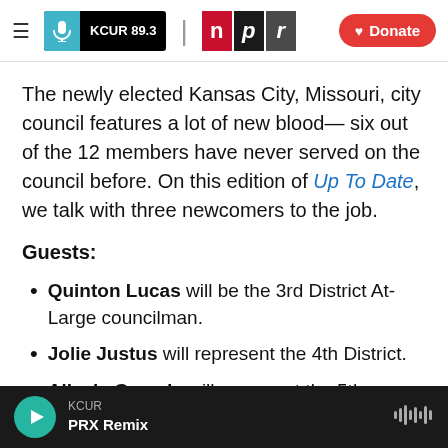[Figure (logo): KCUR 89.3 and NPR logos with hamburger menu and Donate button in header bar]
The newly elected Kansas City, Missouri, city council features a lot of new blood— six out of the 12 members have never served on the council before. On this edition of Up To Date, we talk with three newcomers to the job.
Guests:
Quinton Lucas will be the 3rd District At-Large councilman.
Jolie Justus will represent the 4th District.
Alissia Canady will represent the 5th District.
KCUR PRX Remix